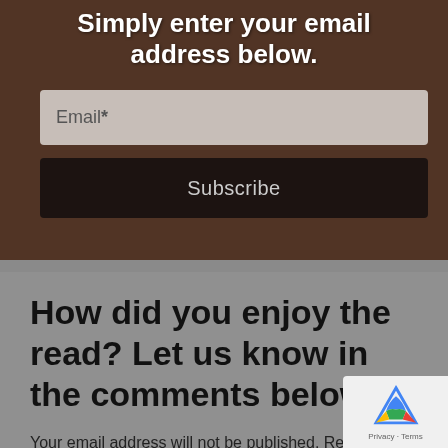Simply enter your email address below.
Email *
Subscribe
How did you enjoy the read? Let us know in the comments below.
Your email address will not be published. Required fields are marked *